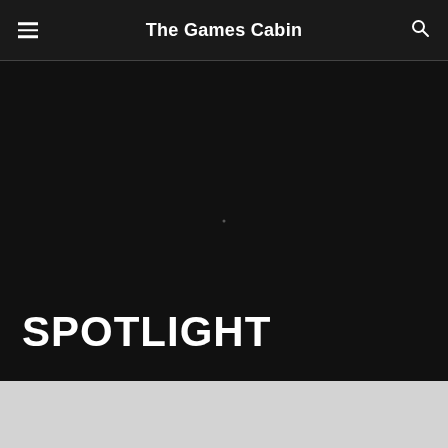The Games Cabin
[Figure (other): Large dark hero/banner area with a very faint dot/star in the center, black background]
SPOTLIGHT
[Figure (other): Light grey area at bottom of page, partially visible]